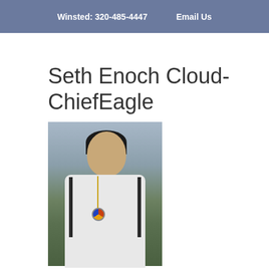Winsted: 320-485-4447   Email Us
Seth Enoch Cloud-ChiefEagle
[Figure (photo): Photo of Seth Enoch Cloud-ChiefEagle, a young man wearing a white Adidas hoodie and a beaded necklace with a circular pendant, standing outdoors with a green field and cloudy sky in the background, looking to the side.]